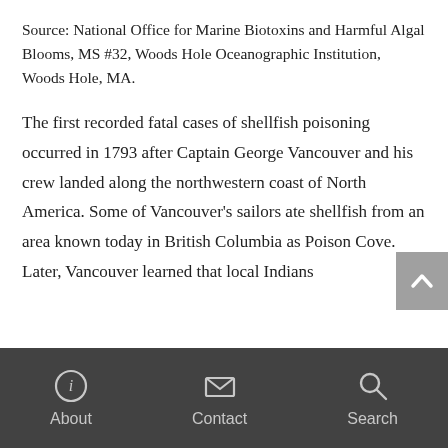Source: National Office for Marine Biotoxins and Harmful Algal Blooms, MS #32, Woods Hole Oceanographic Institution, Woods Hole, MA.
The first recorded fatal cases of shellfish poisoning occurred in 1793 after Captain George Vancouver and his crew landed along the northwestern coast of North America. Some of Vancouver's sailors ate shellfish from an area known today in British Columbia as Poison Cove. Later, Vancouver learned that local Indians
About   Contact   Search